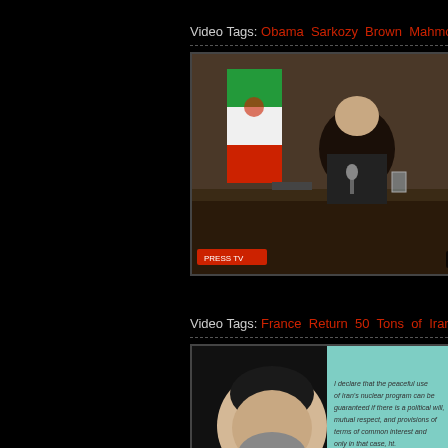Video Tags: Obama Sarkozy Brown Mahmood Ahmadinejad Iran nucle...
[Figure (screenshot): Video thumbnail of Ahmadinejad at press conference, duration 8:29]
Agha Ahmadenejad - France Return 50 Tons o...
France Return 50 Tons of Iranian Uranium - From...
Video Tags: France Return 50 Tons of Iranian Uranium - From NPT O...
[Figure (screenshot): Video thumbnail of Hassan Rouhani with text overlay, duration 5:23]
[13 Sept 2013] Russian President says Iran he...
[13 Sept 2013] Russian President says Iran has t...